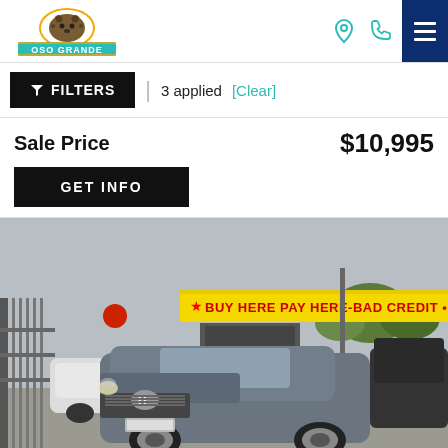[Figure (logo): Oso Grande dealership logo with bear and teal banner]
FILTERS | 3 applied [Clear]
Sale Price $10,995
GET INFO
[Figure (photo): Gray Honda Accord sedan in a car dealership lot with a yellow 'Buy Here Pay Here - Bad Credit' banner in the background]